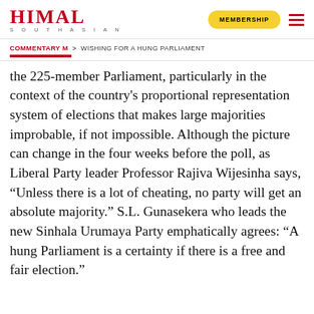HIMAL SOUTHASIAN
COMMENTARY M > WISHING FOR A HUNG PARLIAMENT
the 225-member Parliament, particularly in the context of the country's proportional representation system of elections that makes large majorities improbable, if not impossible. Although the picture can change in the four weeks before the poll, as Liberal Party leader Professor Rajiva Wijesinha says, "Unless there is a lot of cheating, no party will get an absolute majority." S.L. Gunasekera who leads the new Sinhala Urumaya Party emphatically agrees: "A hung Parliament is a certainty if there is a free and fair election."